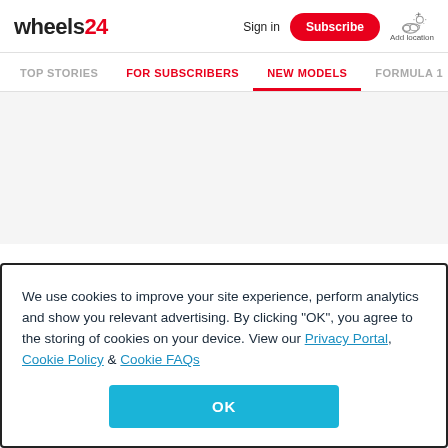wheels24
Sign in | Subscribe | Add location
TOP STORIES | FOR SUBSCRIBERS | NEW MODELS | FORMULA 1
We use cookies to improve your site experience, perform analytics and show you relevant advertising. By clicking "OK", you agree to the storing of cookies on your device. View our Privacy Portal, Cookie Policy & Cookie FAQs
OK